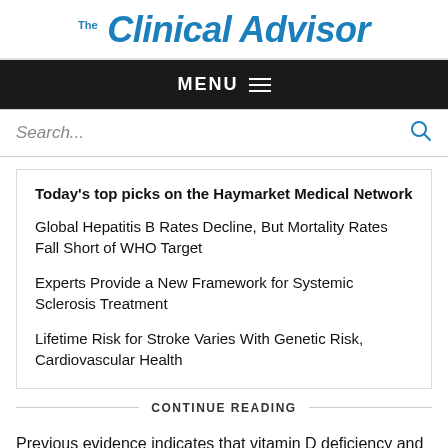Clinical Advisor
MENU
Search...
Today's top picks on the Haymarket Medical Network
Global Hepatitis B Rates Decline, But Mortality Rates Fall Short of WHO Target
Experts Provide a New Framework for Systemic Sclerosis Treatment
Lifetime Risk for Stroke Varies With Genetic Risk, Cardiovascular Health
CONTINUE READING
Previous evidence indicates that vitamin D deficiency and